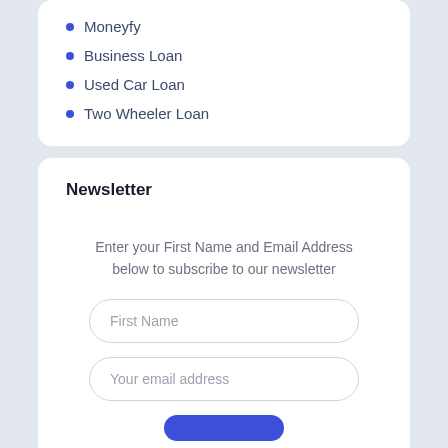Moneyfy
Business Loan
Used Car Loan
Two Wheeler Loan
Newsletter
Enter your First Name and Email Address below to subscribe to our newsletter
[Figure (other): First Name text input field with rounded border]
[Figure (other): Your email address text input field with rounded border]